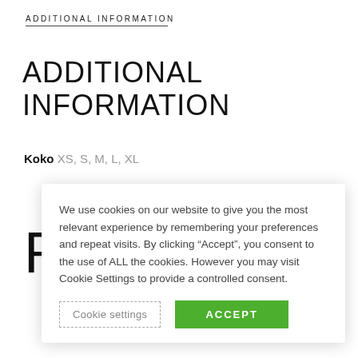ADDITIONAL INFORMATION
ADDITIONAL INFORMATION
Koko XS, S, M, L, XL
R
We use cookies on our website to give you the most relevant experience by remembering your preferences and repeat visits. By clicking “Accept”, you consent to the use of ALL the cookies. However you may visit Cookie Settings to provide a controlled consent.
Cookie settings
ACCEPT